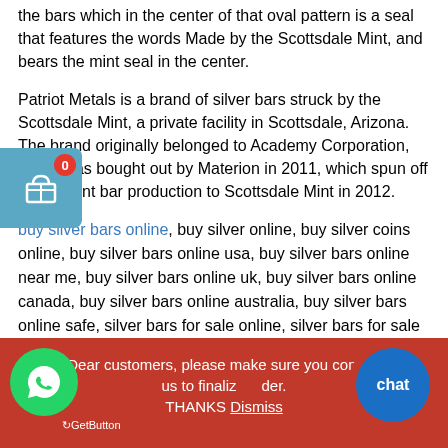the bars which in the center of that oval pattern is a seal that features the words Made by the Scottsdale Mint, and bears the mint seal in the center.
Patriot Metals is a brand of silver bars struck by the Scottsdale Mint, a private facility in Scottsdale, Arizona. The brand originally belonged to Academy Corporation, which was bought out by Materion in 2011, which spun off investment bar production to Scottsdale Mint in 2012.
buy silver bars online, buy silver online, buy silver coins online, buy silver bars online usa, buy silver bars online near me, buy silver bars online uk, buy silver bars online canada, buy silver bars online australia, buy silver bars online safe, silver bars for sale online, silver bars for sale in usa, silver bars for sale in uk, silver bars for sale in europe, best place to buy silver bars, best place to buy silver coins, silver coins for sale online, buy silver coins online in usa, buy silver coins online i…
Dear customers, please make sure you contact us to finalize your order. THANKS Dismiss